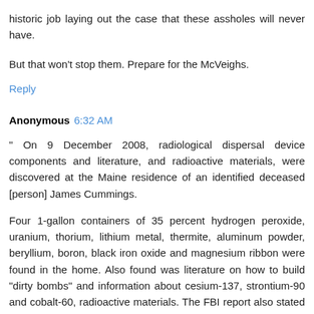historic job laying out the case that these assholes will never have.
But that won't stop them. Prepare for the McVeighs.
Reply
Anonymous 6:32 AM
" On 9 December 2008, radiological dispersal device components and literature, and radioactive materials, were discovered at the Maine residence of an identified deceased [person] James Cummings.
Four 1-gallon containers of 35 percent hydrogen peroxide, uranium, thorium, lithium metal, thermite, aluminum powder, beryllium, boron, black iron oxide and magnesium ribbon were found in the home. Also found was literature on how to build "dirty bombs" and information about cesium-137, strontium-90 and cobalt-60, radioactive materials. The FBI report also stated there was evidence linking James Cummings to white supremacist groups.